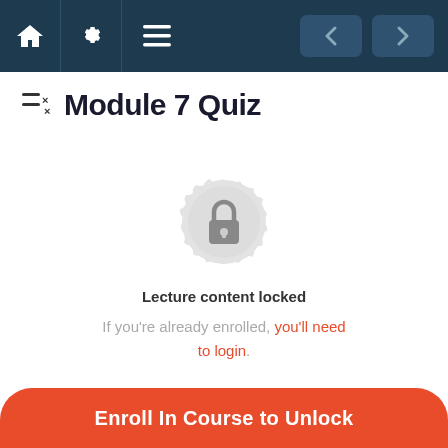Module 7 Quiz - navigation bar with home, settings, menu icons and prev/next buttons
Module 7 Quiz
[Figure (illustration): A decorative lock badge icon — a padlock centered on a gray rosette/seal shape indicating locked content]
Lecture content locked
If you're already enrolled, you'll need to login.
Enroll In Course to Unlock